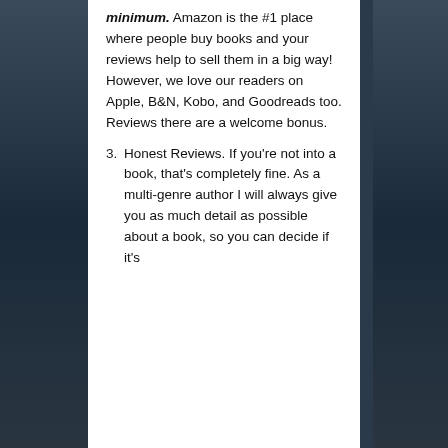minimum. Amazon is the #1 place where people buy books and your reviews help to sell them in a big way! However, we love our readers on Apple, B&N, Kobo, and Goodreads too. Reviews there are a welcome bonus.
Honest Reviews. If you're not into a book, that's completely fine. As a multi-genre author I will always give you as much detail as possible about a book, so you can decide if it's